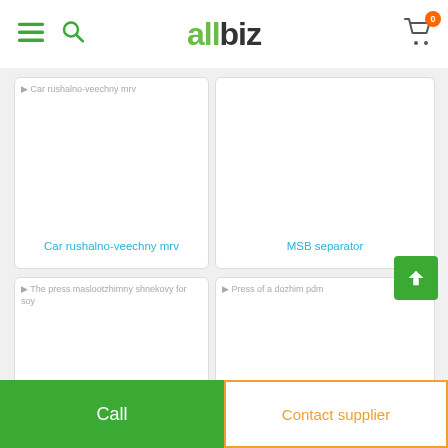allbiz — menu, search, cart (0)
[Figure (screenshot): Product card: Car rushalno-veechny mrv — white card with broken image placeholder and teal product title]
Car rushalno-veechny mrv
[Figure (screenshot): Product card: MSB separator — white card with no image and teal product title]
MSB separator
[Figure (screenshot): Product card: The press maslootzhimny shnekovy for soy — white card with broken image placeholder]
[Figure (screenshot): Product card: Press of a dozhim pdm — white card with broken image placeholder]
Call | Contact supplier